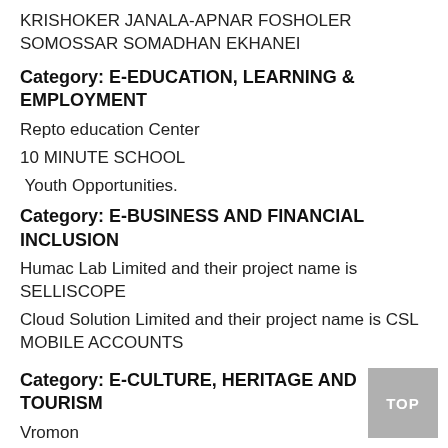KRISHOKER JANALA-APNAR FOSHOLER SOMOSSAR SOMADHAN EKHANEI
Category: E-EDUCATION, LEARNING & EMPLOYMENT
Repto education Center
10 MINUTE SCHOOL
Youth Opportunities.
Category: E-BUSINESS AND FINANCIAL INCLUSION
Humac Lab Limited and their project name is SELLISCOPE
Cloud Solution Limited and their project name is CSL MOBILE ACCOUNTS
Category: E-CULTURE, HERITAGE AND TOURISM
Vromon
Dhaka Electronica Scene/Akaliko Records their